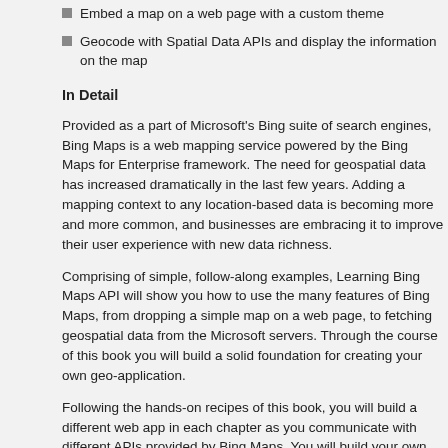Embed a map on a web page with a custom theme
Geocode with Spatial Data APIs and display the information on the map
In Detail
Provided as a part of Microsoft's Bing suite of search engines, Bing Maps is a web mapping service powered by the Bing Maps for Enterprise framework. The need for geospatial data has increased dramatically in the last few years. Adding a mapping context to any location-based data is becoming more and more common, and businesses are embracing it to improve their user experience with new data richness.
Comprising of simple, follow-along examples, Learning Bing Maps API will show you how to use the many features of Bing Maps, from dropping a simple map on a web page, to fetching geospatial data from the Microsoft servers. Through the course of this book you will build a solid foundation for creating your own geo-application.
Following the hands-on recipes of this book, you will build a different web app in each chapter as you communicate with different APIs provided by Bing Maps. You will build your own library of JavaScript modules that talk to the Microsoft Maps API.
You will create a custom theme for the map, with your own controls. Taking advantage of the global reach of Bing Maps, you will learn how to build a route scheduler for a delivery company in Madrid, Spain, and then you will discover how to create jobs on the Bing Maps servers for geocoding.